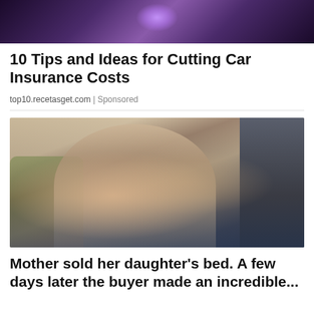[Figure (photo): Top portion of an advertisement image showing a person holding a glowing orb or light source against a dark purple background]
10 Tips and Ideas for Cutting Car Insurance Costs
top10.recetasget.com | Sponsored
[Figure (photo): A smiling woman with glasses wearing a beige blazer holding a baby, sitting at a laptop in an office setting with plants and bookshelves in the background]
Mother sold her daughter's bed. A few days later the buyer made an incredible...